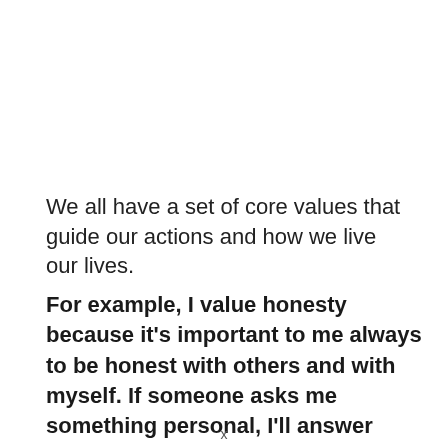We all have a set of core values that guide our actions and how we live our lives.
For example, I value honesty because it's important to me always to be honest with others and with myself. If someone asks me something personal, I'll answer them honestly, even if I know it would hurt their feelings, because I believe the truth is true. That's one of
x